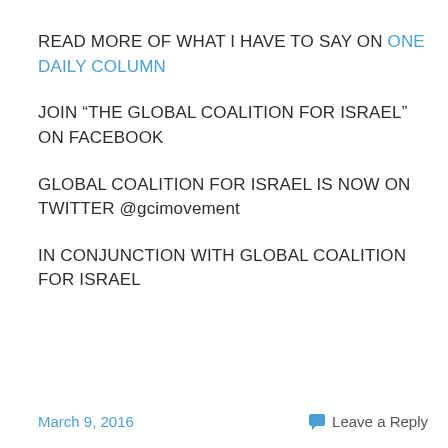READ MORE OF WHAT I HAVE TO SAY ON ONE DAILY COLUMN
JOIN “THE GLOBAL COALITION FOR ISRAEL” ON FACEBOOK
GLOBAL COALITION FOR ISRAEL IS NOW ON TWITTER @gcimovement
IN CONJUNCTION WITH GLOBAL COALITION FOR ISRAEL
March 9, 2016    Leave a Reply